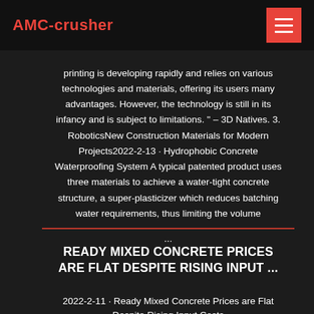AMC-crusher
printing is developing rapidly and relies on various technologies and materials, offering its users many advantages. However, the technology is still in its infancy and is subject to limitations. " – 3D Natives. 3. RoboticsNew Construction Materials for Modern Projects2022-2-13 · Hydrophobic Concrete Waterproofing System A typical patented product uses three materials to achieve a water-tight concrete structure, a super-plasticizer which reduces batching water requirements, thus limiting the volume ...
READY MIXED CONCRETE PRICES ARE FLAT DESPITE RISING INPUT ...
2022-2-11 · Ready Mixed Concrete Prices are Flat Despite Rising Input Costs